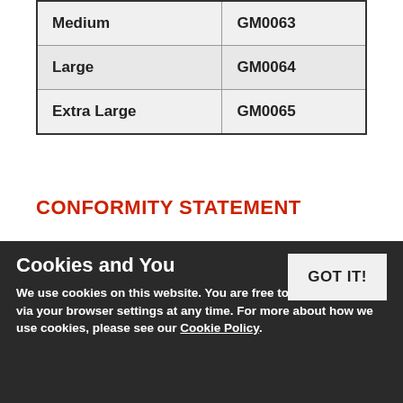| Medium | GM0063 |
| Large | GM0064 |
| Extra Large | GM0065 |
CONFORMITY STATEMENT
Please find the conformity statement for these gloves by clicking the PDF link below.
Conformity Statement
Cookies and You
We use cookies on this website. You are free to manage these via your browser settings at any time. For more about how we use cookies, please see our Cookie Policy.